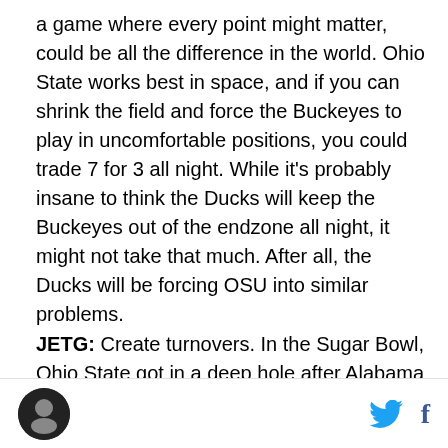a game where every point might matter, could be all the difference in the world. Ohio State works best in space, and if you can shrink the field and force the Buckeyes to play in uncomfortable positions, you could trade 7 for 3 all night. While it's probably insane to think the Ducks will keep the Buckeyes out of the endzone all night, it might not take that much. After all, the Ducks will be forcing OSU into similar problems.
JETG: Create turnovers. In the Sugar Bowl, Ohio State got in a deep hole after Alabama converted an Ezekiel Elliott fumble and Cardale Jones interception into touchdowns. It was impressive that Ohio State came back and turned the game around...but I don't know
[logo] [twitter] [facebook]